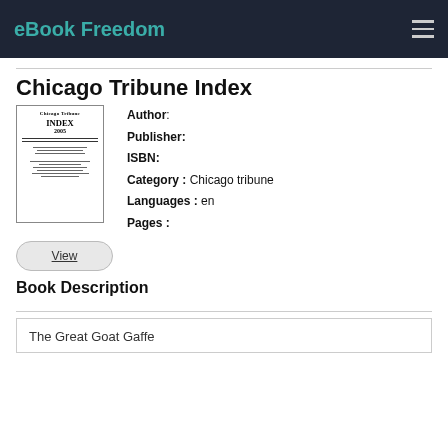eBook Freedom
Chicago Tribune Index
Author:
Publisher:
ISBN:
Category : Chicago tribune
Languages : en
Pages :
Book Description
The Great Goat Gaffe